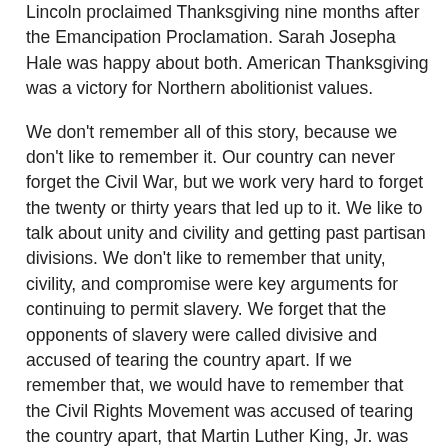Lincoln proclaimed Thanksgiving nine months after the Emancipation Proclamation. Sarah Josepha Hale was happy about both. American Thanksgiving was a victory for Northern abolitionist values.
We don't remember all of this story, because we don't like to remember it. Our country can never forget the Civil War, but we work very hard to forget the twenty or thirty years that led up to it. We like to talk about unity and civility and getting past partisan divisions. We don't like to remember that unity, civility, and compromise were key arguments for continuing to permit slavery. We forget that the opponents of slavery were called divisive and accused of tearing the country apart. If we remember that, we would have to remember that the Civil Rights Movement was accused of tearing the country apart, that Martin Luther King, Jr. was called a radical communist. We would have to remember that the people calling for unity and mutual understanding in the 1950s and early 1960s were calling for more sympathy for Southern segregationists and their feelings about their local traditions, that demands for justice were called unnecessarily confrontational.